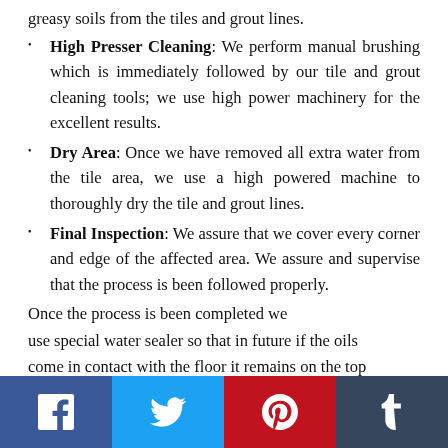greasy soils from the tiles and grout lines.
High Presser Cleaning: We perform manual brushing which is immediately followed by our tile and grout cleaning tools; we use high power machinery for the excellent results.
Dry Area: Once we have removed all extra water from the tile area, we use a high powered machine to thoroughly dry the tile and grout lines.
Final Inspection: We assure that we cover every corner and edge of the affected area. We assure and supervise that the process is been followed properly.
Once the process is been completed we use special water sealer so that in future if the oils come in contact with the floor it remains on the top